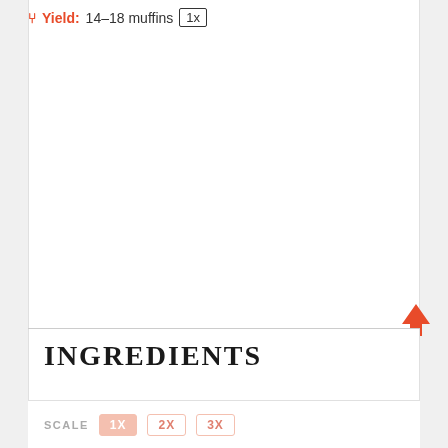Yield: 14–18 muffins 1x
INGREDIENTS
SCALE  1X  2X  3X